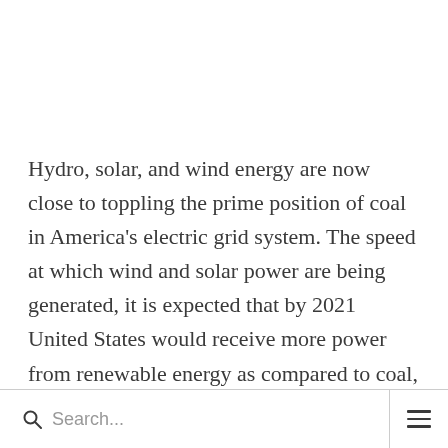Hydro, solar, and wind energy are now close to toppling the prime position of coal in America's electric grid system. The speed at which wind and solar power are being generated, it is expected that by 2021 United States would receive more power from renewable energy as compared to coal, as per projections made by the Institute for Energy Economic and Financial
Search...